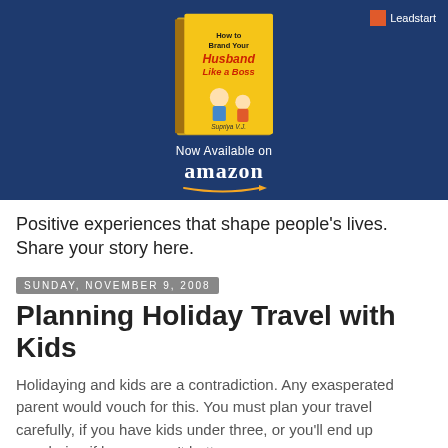[Figure (illustration): Dark navy blue banner with a yellow book cover in the center titled 'How to Brand Your Husband Like a Boss'. Below the book is text 'Now Available on amazon'. A Leadstart logo is in the top-right corner.]
Positive experiences that shape people's lives. Share your story here.
Sunday, November 9, 2008
Planning Holiday Travel with Kids
Holidaying and kids are a contradiction. Any exasperated parent would vouch for this. You must plan your travel carefully, if you have kids under three, or you'll end up wondering if home wasn't better.